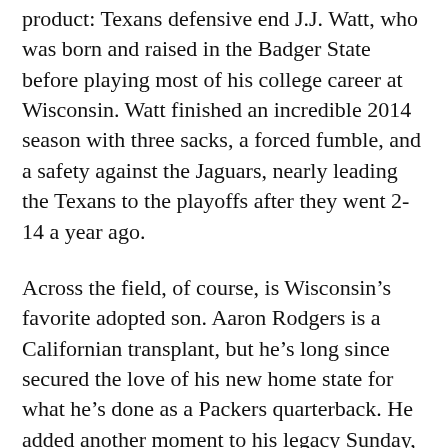product: Texans defensive end J.J. Watt, who was born and raised in the Badger State before playing most of his college career at Wisconsin. Watt finished an incredible 2014 season with three sacks, a forced fumble, and a safety against the Jaguars, nearly leading the Texans to the playoffs after they went 2-14 a year ago.
Across the field, of course, is Wisconsin's favorite adopted son. Aaron Rodgers is a Californian transplant, but he's long since secured the love of his new home state for what he's done as a Packers quarterback. He added another moment to his legacy Sunday, struggling through a calf injury that forced him to the sideline during the first half to lead the Packers to a 30-20 win, clinching Green Bay's fourth consecutive NFC North title in the process.
So, with Wisconsin Past and Present represented in the